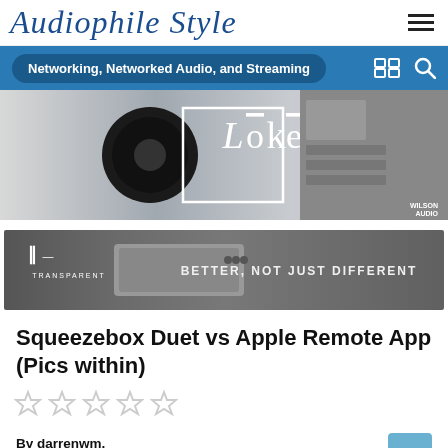Audiophile Style
Networking, Networked Audio, and Streaming
[Figure (photo): Banner advertisement showing audio speakers and the Loke brand logo in a white box outline, with Wilson Audio badge in bottom right corner]
[Figure (photo): Transparent brand advertisement showing an audio device/component with text BETTER, NOT JUST DIFFERENT]
Squeezebox Duet vs Apple Remote App (Pics within)
[Figure (other): Five grey star rating icons (unrated/empty stars)]
By darrenwm,
August 6, 2008 in Networking, Networked Audio, and Streaming